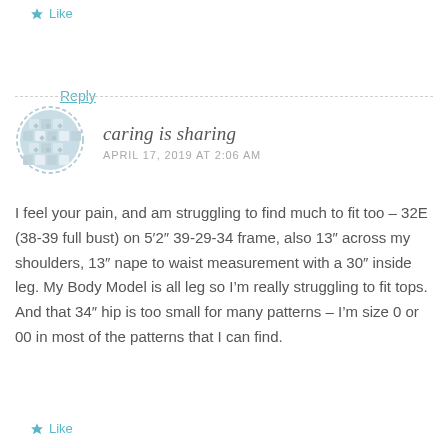★ Like
Reply
[Figure (illustration): User avatar: circular dashed border with a blue-grey decorative tile/grid pattern inside]
caring is sharing
APRIL 17, 2019 AT 2:06 AM
I feel your pain, and am struggling to find much to fit too – 32E (38-39 full bust) on 5′2″ 39-29-34 frame, also 13″ across my shoulders, 13″ nape to waist measurement with a 30″ inside leg. My Body Model is all leg so I’m really struggling to fit tops. And that 34″ hip is too small for many patterns – I’m size 0 or 00 in most of the patterns that I can find.
★ Like